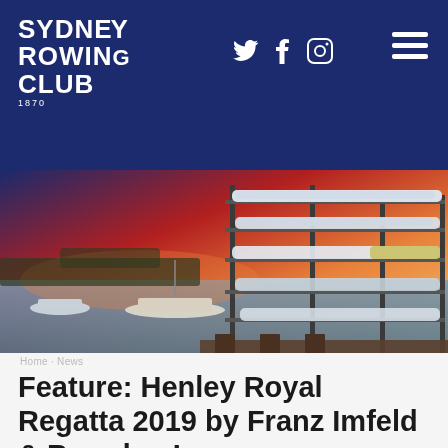SYDNEY ROWING CLUB 1870
[Figure (photo): Rowing boats stacked on a rack near a marina at sunset, with yachts moored in the background and warm orange and pink sky]
Feature: Henley Royal Regatta 2019 by Franz Imfeld & Brendan Longman